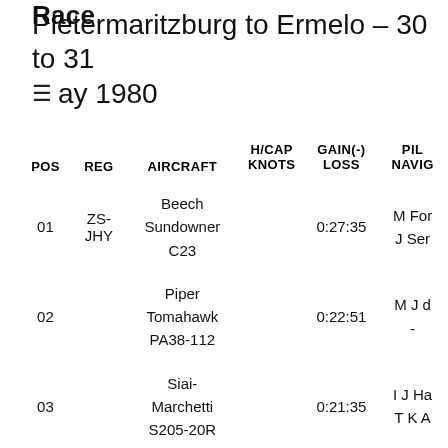Race
Pietermaritzburg to Ermelo – 30 to 31 May 1980
| POS | REG | AIRCRAFT | H/CAP KNOTS | GAIN(-) LOSS | PIL NAVIG |
| --- | --- | --- | --- | --- | --- |
| 01 | ZS-JHY | Beech Sundowner C23 |  | 0:27:35 | M For J Ser |
| 02 |  | Piper Tomahawk PA38-112 |  | 0:22:51 | M J d - |
| 03 |  | Siai-Marchetti S205-20R |  | 0:21:35 | I J Ha T K A |